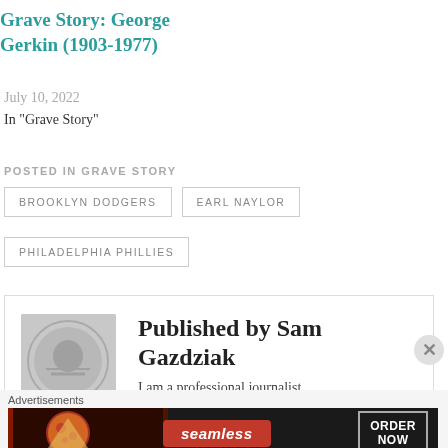Grave Story: George Gerkin (1903-1977)
July 10, 2022
In "Grave Story"
POSTED IN GRAVE STORY
BROOKLYN DODGERS
EARL NAYLOR
PHILADELPHIA PHILLIES
Published by Sam Gazdziak
I am a professional journalist
Advertisements
[Figure (infographic): Seamless food delivery advertisement banner showing pizza with seamless logo and ORDER NOW button]